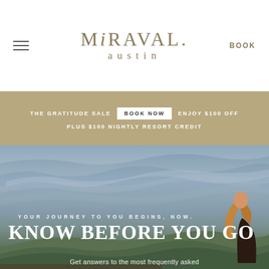MIRAVAL austin — Navigation header with hamburger menu and BOOK button
THE GRATITUDE SALE   BOOK NOW   ENJOY $100 OFF
PLUS $100 NIGHTLY RESORT CREDIT
[Figure (photo): Scenic landscape photo showing a dramatic cloudy sky over rolling Texas hills at dusk, with a woman with long hair standing on a deck/overlook in the lower right corner.]
YOUR JOURNEY TO YOU BEGINS, NOW.
KNOW BEFORE YOU GO
Get answers to the most frequently asked